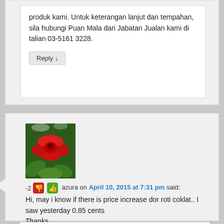produk kami. Untuk keterangan lanjut dan tempahan, sila hubungi Puan Mala dari Jabatan Jualan kami di talian 03-5161 3228.
Reply ↓
[Figure (photo): Red rose avatar image with green leaves background]
-2 [thumbs down] [thumbs up] azura on April 10, 2015 at 7:31 pm said:
Hi, may i know if there is price increase dor roti coklat.. I saw yesterday 0.85 cents
Thanks
Reply ↓